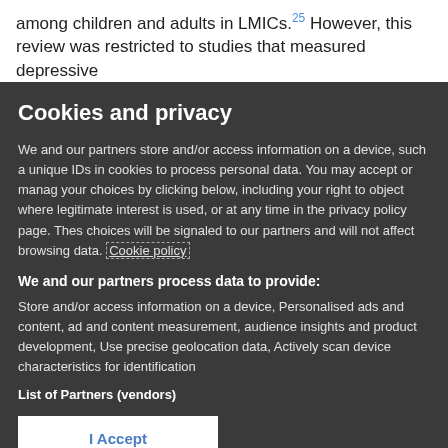among children and adults in LMICs.25 However, this review was restricted to studies that measured depressive
Cookies and privacy
We and our partners store and/or access information on a device, such as unique IDs in cookies to process personal data. You may accept or manage your choices by clicking below, including your right to object where legitimate interest is used, or at any time in the privacy policy page. These choices will be signaled to our partners and will not affect browsing data. Cookie policy
We and our partners process data to provide:
Store and/or access information on a device, Personalised ads and content, ad and content measurement, audience insights and product development, Use precise geolocation data, Actively scan device characteristics for identification
List of Partners (vendors)
I Accept